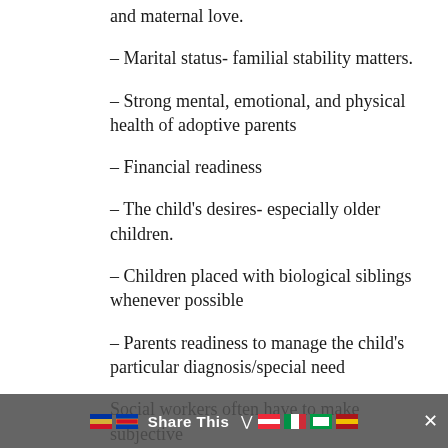and maternal love.
– Marital status- familial stability matters.
– Strong mental, emotional, and physical health of adoptive parents
– Financial readiness
– The child's desires- especially older children.
– Children placed with biological siblings whenever possible
– Parents readiness to manage the child's particular diagnosis/special need
Social workers often have to make subjective decisions abo... of the... that the children attend...